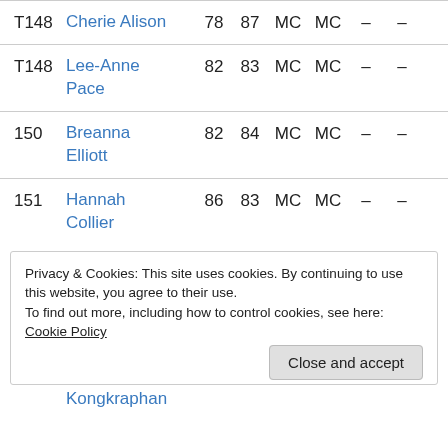| Rank | Name | Score1 | Score2 | Col1 | Col2 | Col3 | Col4 |
| --- | --- | --- | --- | --- | --- | --- | --- |
| T148 | Cherie Alison | 78 | 87 | MC | MC | – | – |
| T148 | Lee-Anne Pace | 82 | 83 | MC | MC | – | – |
| 150 | Breanna Elliott | 82 | 84 | MC | MC | – | – |
| 151 | Hannah Collier | 86 | 83 | MC | MC | – | – |
Privacy & Cookies: This site uses cookies. By continuing to use this website, you agree to their use.
To find out more, including how to control cookies, see here: Cookie Policy
Kongkraphan